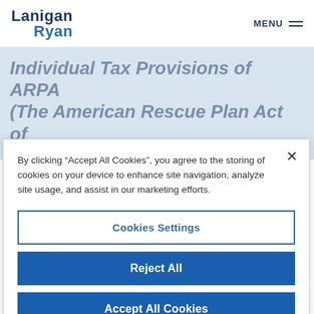Lanigan Ryan | MENU
Individual Tax Provisions of ARPA (The American Rescue Plan Act of 2021)
By clicking “Accept All Cookies”, you agree to the storing of cookies on your device to enhance site navigation, analyze site usage, and assist in our marketing efforts.
Cookies Settings
Reject All
Accept All Cookies